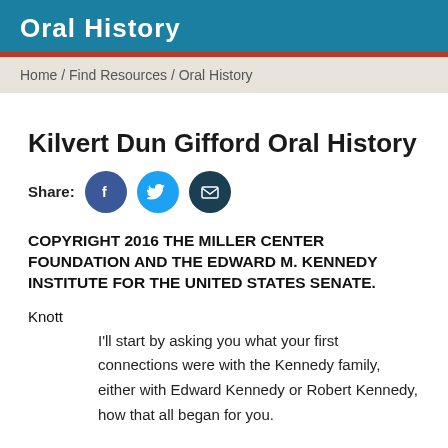Oral History
Home / Find Resources / Oral History
Kilvert Dun Gifford Oral History
Share: [Facebook] [Twitter] [Email]
COPYRIGHT 2016 THE MILLER CENTER FOUNDATION AND THE EDWARD M. KENNEDY INSTITUTE FOR THE UNITED STATES SENATE.
Knott
I'll start by asking you what your first connections were with the Kennedy family, either with Edward Kennedy or Robert Kennedy, how that all began for you.